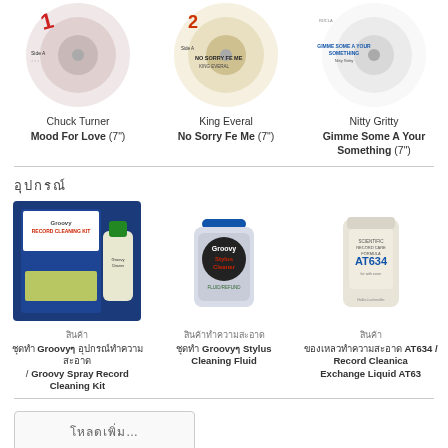[Figure (photo): Vinyl record label - Chuck Turner, Side A, pink design]
Chuck Turner
Mood For Love (7")
[Figure (photo): Vinyl record label - King Everal, No Sorry Fe Me]
King Everal
No Sorry Fe Me (7")
[Figure (photo): Vinyl record label - Nitty Gritty, Gimme Some A Your Something]
Nitty Gritty
Gimme Some A Your Something (7")
อุปกรณ์
[Figure (photo): Groovy Record Cleaning Kit product - blue package with cleaning fluid bottle]
สินค้า
ชุดทำ Groovyๆ อุปกรณ์ทำความสะอาด / Groovy Spray Record Cleaning Kit
[Figure (photo): Groovy Stylus Cleaning Fluid product bottle with blue cap]
สินค้าทำความสะอาด
ชุดทำ Groovyๆ Stylus Cleaning Fluid
[Figure (photo): AT634 Record Cleanica Exchange Liquid product bottle]
สินค้า
ของเหลวทำความสะอาด AT634 / Record Cleanica Exchange Liquid AT63
โหลดเพิ่ม…